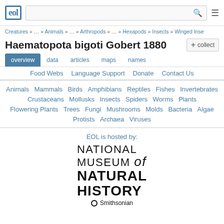EOL [logo] [search bar] [menu icon]
Creatures » … » Animals » … » Arthropods » … » Hexapods » Insects » Winged Inse
Haematopota bigoti Gobert 1880
overview  data  articles  maps  names
Food Webs  Language Support  Donate  Contact Us
Animals  Mammals  Birds  Amphibians  Reptiles  Fishes  Invertebrates  Crustaceans  Mollusks  Insects  Spiders  Worms  Plants  Flowering Plants  Trees  Fungi  Mushrooms  Molds  Bacteria  Algae  Protists  Archaea  Viruses
EOL is hosted by:
[Figure (logo): National Museum of Natural History Smithsonian logo]